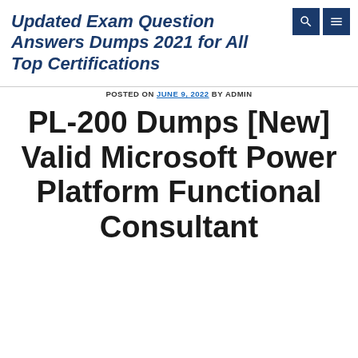Updated Exam Question Answers Dumps 2021 for All Top Certifications
POSTED ON JUNE 9, 2022 BY ADMIN
PL-200 Dumps [New] Valid Microsoft Power Platform Functional Consultant